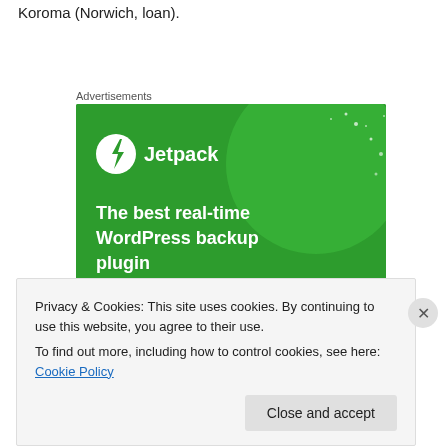Koroma (Norwich, loan).
Advertisements
[Figure (illustration): Jetpack advertisement banner with green background showing logo and text: 'The best real-time WordPress backup plugin']
Privacy & Cookies: This site uses cookies. By continuing to use this website, you agree to their use.
To find out more, including how to control cookies, see here: Cookie Policy
Close and accept